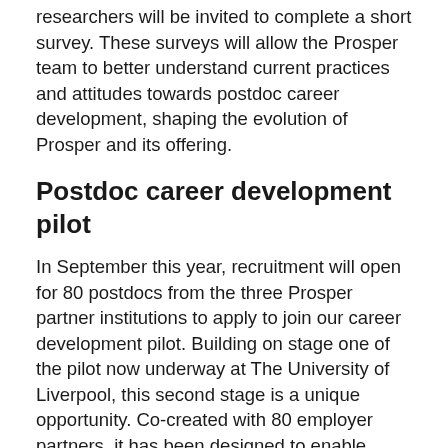researchers will be invited to complete a short survey. These surveys will allow the Prosper team to better understand current practices and attitudes towards postdoc career development, shaping the evolution of Prosper and its offering.
Postdoc career development pilot
In September this year, recruitment will open for 80 postdocs from the three Prosper partner institutions to apply to join our career development pilot. Building on stage one of the pilot now underway at The University of Liverpool, this second stage is a unique opportunity. Co-created with 80 employer partners, it has been designed to enable postdoc to explore multiple career pathways, benefit from dedicated career coaching and direct access to employers. Postdocs' time to engage with the pilot will be facilitated by a 10% contract extension funded by P...